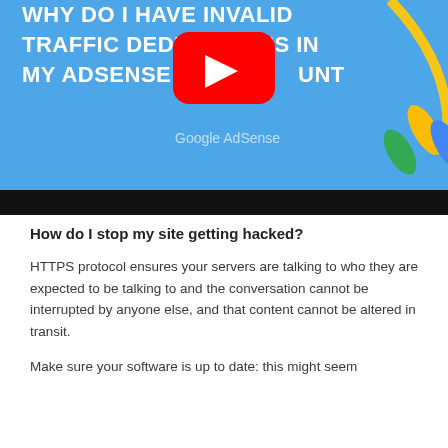[Figure (screenshot): YouTube video thumbnail showing a Google AdSense video titled 'WHY DO I HAVE INVALID TRAFFIC DEDUCTIONS IN MY ADSENSE ACCOUNT' with a red YouTube play button in the center, blue background, and Google AdSense decorative graphic elements (yellow, green, blue pill shapes) on the right. A black bar appears at the bottom of the thumbnail.]
How do I stop my site getting hacked?
HTTPS protocol ensures your servers are talking to who they are expected to be talking to and the conversation cannot be interrupted by anyone else, and that content cannot be altered in transit.
Make sure your software is up to date: this might seem